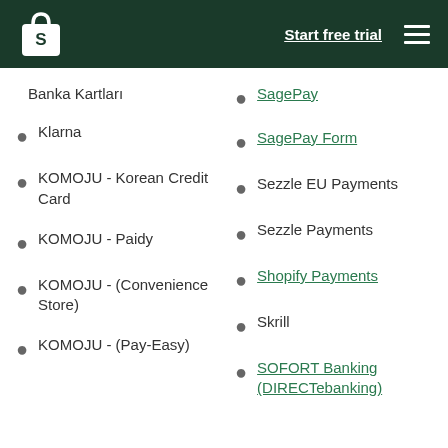Start free trial
Banka Kartları
SagePay
Klarna
SagePay Form
KOMOJU - Korean Credit Card
Sezzle EU Payments
KOMOJU - Paidy
Sezzle Payments
KOMOJU - (Convenience Store)
Shopify Payments
Skrill
KOMOJU - (Pay-Easy)
SOFORT Banking (DIRECTebanking)